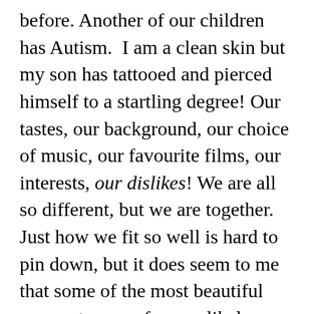before. Another of our children has Autism.  I am a clean skin but my son has tattooed and pierced himself to a startling degree! Our tastes, our background, our choice of music, our favourite films, our interests, our dislikes! We are all so different, but we are together.  Just how we fit so well is hard to pin down, but it does seem to me that some of the most beautiful moments come from unlikely pairings.  This is the jigsaw effect: one person's difficulty seems to match perfectly with another's ability, or very often one will provide the exact humour needed to ease the tension the rest of us have created over some matter or other.  The need of one child brings